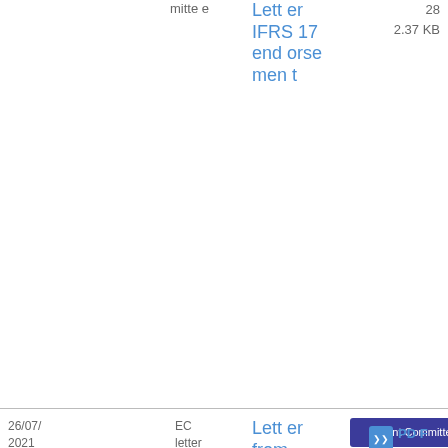mitte e
Letter IFRS 17 endorsement
28
2.37 KB
26/07/2021
EC letter Q&Ss
Letter from the EU Commission to ESA JC-Q&As
Joint Committee
Sustainable finance
lette r
PDF
19
9.38 KB